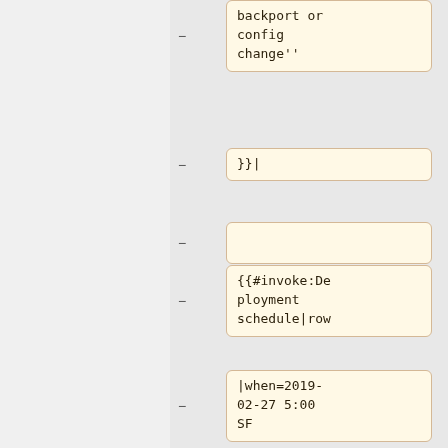backport or config change''
}}|
{{#invoke:Deployment schedule|row
|when=2019-02-27 5:00 SF
|length=1
|window=Pre MediaWiki train sanity break
|who=